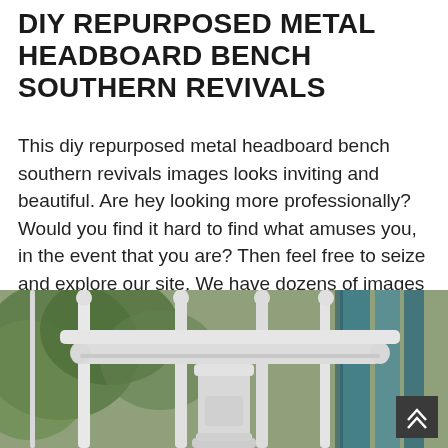DIY REPURPOSED METAL HEADBOARD BENCH SOUTHERN REVIVALS
This diy repurposed metal headboard bench southern revivals images looks inviting and beautiful. Are hey looking more professionally? Would you find it hard to find what amuses you, in the event that you are? Then feel free to seize and explore our site. We have dozens of images for inspiration.
[Figure (photo): Close-up photo of a white painted metal headboard repurposed as a bench, showing ornate white metal spindles and a decorative top rail, with green foliage and teal/blue wooden planks visible in the background.]